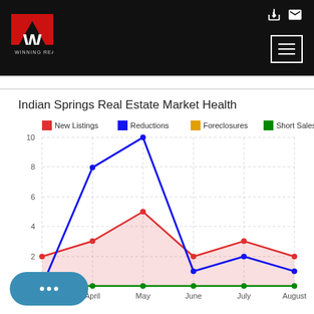[Figure (logo): Winning Realty logo with red and black W on white background]
Indian Springs Real Estate Market Health
[Figure (line-chart): Indian Springs Real Estate Market Health]